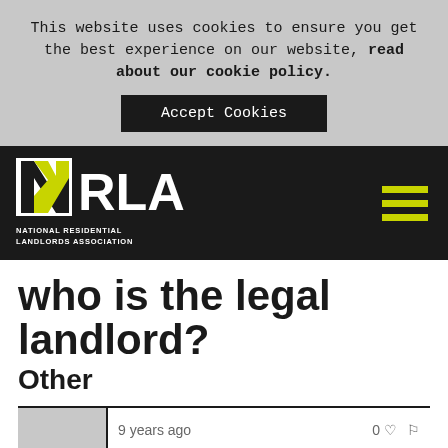This website uses cookies to ensure you get the best experience on our website, read about our cookie policy.
Accept Cookies
[Figure (logo): NRLA - National Residential Landlords Association logo in white on black background with yellow N accent]
who is the legal landlord?
Other
9 years ago
0